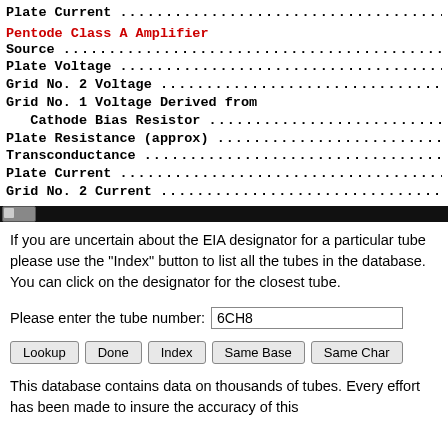Plate Current .....................................
Pentode Class A Amplifier
Source .....................................
Plate Voltage .....................................
Grid No. 2 Voltage .....................................
Grid No. 1 Voltage Derived from
   Cathode Bias Resistor .....................................
Plate Resistance (approx) .....................................
Transconductance .....................................
Plate Current .....................................
Grid No. 2 Current .....................................
[Figure (other): Horizontal black divider bar with small grey connector icon on left]
If you are uncertain about the EIA designator for a particular tube please use the "Index" button to list all the tubes in the database. You can click on the designator for the closest tube.
Please enter the tube number: 6CH8
Lookup | Done | Index | Same Base | Same Char
This database contains data on thousands of tubes. Every effort has been made to insure the accuracy of this